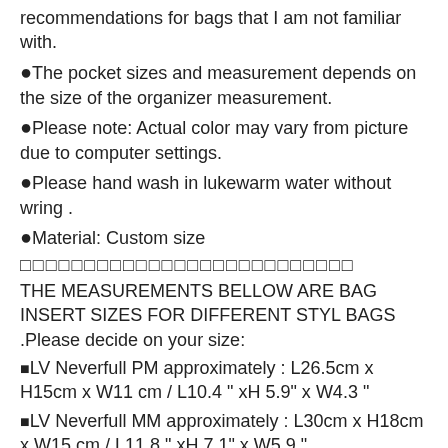recommendations for bags that I am not familiar with.
●The pocket sizes and measurement depends on the size of the organizer measurement.
●Please note: Actual color may vary from picture due to computer settings.
●Please hand wash in lukewarm water without wring .
●Material: Custom size
□□□□□□□□□□□□□□□□□□□□□□□□□□
THE MEASUREMENTS BELLOW ARE BAG INSERT SIZES FOR DIFFERENT STYL BAGS .Please decide on your size:
■LV Neverfull PM approximately : L26.5cm x H15cm x W11 cm / L10.4 " xH 5.9" x W4.3 "
■LV Neverfull MM approximately : L30cm x H18cm x W15 cm / L11.8 " xH 7.1" x W5.9 "
■LV Neverfull GM approximately: L38cm x H18cm x W18 cm / L15" x H7.1" x W7.1 "